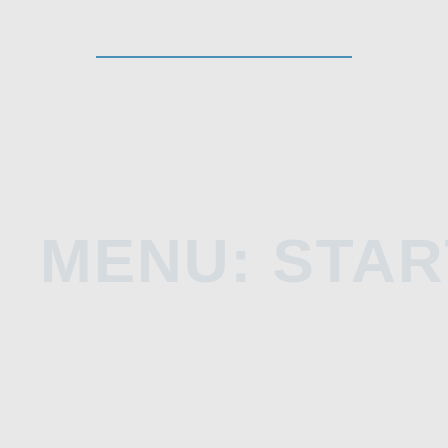MENU: START
Start menu displays self-service dashboard.
[Figure (screenshot): Screenshot of a software application showing a split-pane interface. Left pane shows a tree navigation menu with items including: Displays, Displays plural, Displays drivers, Hardware drivers (models). Right pane shows a dark-themed self-service dashboard with blue gradient cards and city imagery.]